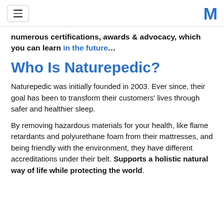[hamburger menu] [M logo]
numerous certifications, awards & advocacy, which you can learn in the future…
Who Is Naturepedic?
Naturepedic was initially founded in 2003. Ever since, their goal has been to transform their customers' lives through safer and healthier sleep.
By removing hazardous materials for your health, like flame retardants and polyurethane foam from their mattresses, and being friendly with the environment, they have different accreditations under their belt. Supports a holistic natural way of life while protecting the world.